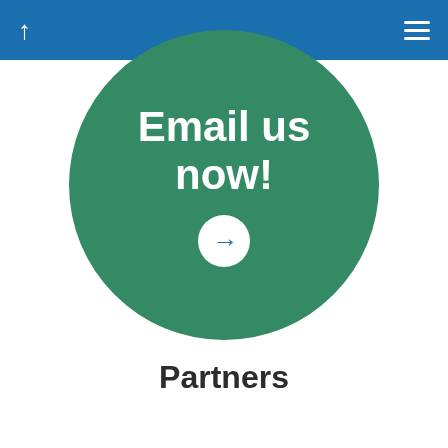↑ ≡
[Figure (infographic): Large green circle button with white bold text 'Email us now!' and a white circular arrow button with blue right arrow inside]
Partners